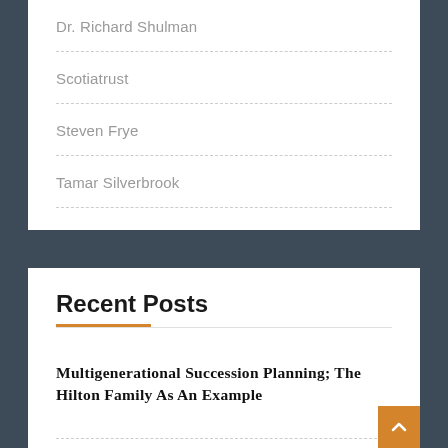Dr. Richard Shulman
Scotiatrust
Steven Frye
Tamar Silverbrook
Recent Posts
Multigenerational Succession Planning; The Hilton Family As An Example
NEWMAN'S OWN FOUNDATION – NOT NEWMAN'S OWN INTENTIONS?